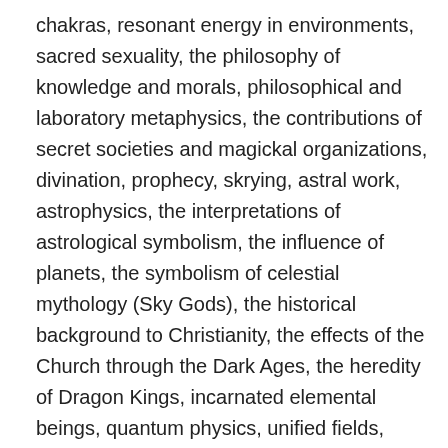chakras, resonant energy in environments, sacred sexuality, the philosophy of knowledge and morals, philosophical and laboratory metaphysics, the contributions of secret societies and magickal organizations, divination, prophecy, skrying, astral work, astrophysics, the interpretations of astrological symbolism, the influence of planets, the symbolism of celestial mythology (Sky Gods), the historical background to Christianity, the effects of the Church through the Dark Ages, the heredity of Dragon Kings, incarnated elemental beings, quantum physics, unified fields, superstrings (string theory) and other waves and particles of energy. Provided within are all the tools YOU, the seeker, require to discover the ARCANUM of life for YOURSELF.
*Vocabulary influences perceptions…